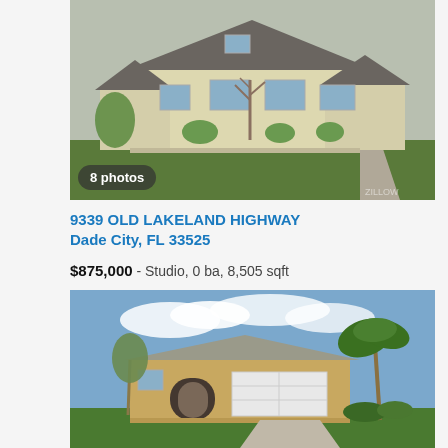[Figure (photo): Two-story light yellow house with gray roof, landscaping, and lawn. Badge reads '8 photos'.]
9339 OLD LAKELAND HIGHWAY
Dade City, FL 33525
$875,000 - Studio, 0 ba, 8,505 sqft
[Figure (photo): Single-story tan/orange stucco house with white garage door, palm tree, and lawn.]